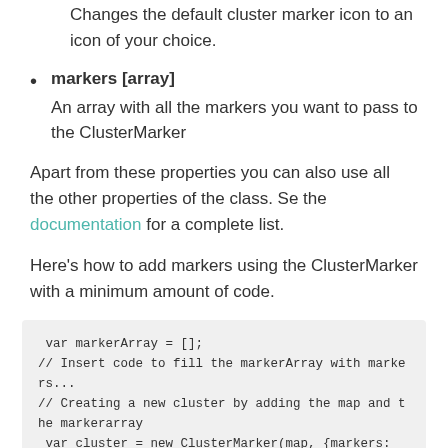Changes the default cluster marker icon to an icon of your choice.
markers [array]
An array with all the markers you want to pass to the ClusterMarker
Apart from these properties you can also use all the other properties of the class. Se the documentation for a complete list.
Here's how to add markers using the ClusterMarker with a minimum amount of code.
var markerArray = [];
// Insert code to fill the markerArray with markers...
// Creating a new cluster by adding the map and the markerarray
var cluster = new ClusterMarker(map, {markers: